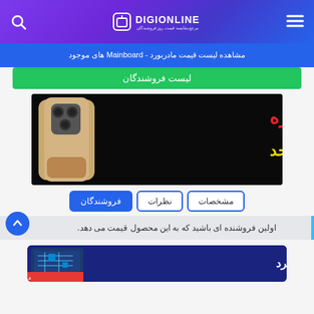DIGIONLINE — مرجع مقایسه قیمت روز فروشندگان
مشاهده لیست قیمت مادربورد - Mainboard های موجود
لیست فروشندگان
[Figure (photo): Advertisement banner: iPhone 12 Pro Max special sale — فروش ویژه آیفون ۱۲ پرومکس در حد]
فروشندگان | نظرات | مشخصات
اولین فروشنده ای باشید که به این محصول قیمت می دهد.
[Figure (photo): Advertisement banner: فروش انواع مادربرد — motherboard sales banner with circuit board imagery]